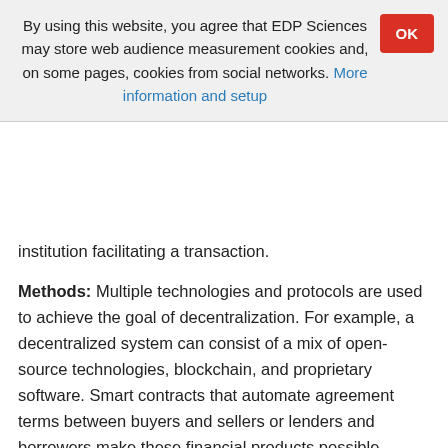By using this website, you agree that EDP Sciences may store web audience measurement cookies and, on some pages, cookies from social networks. More information and setup
institution facilitating a transaction.
Methods: Multiple technologies and protocols are used to achieve the goal of decentralization. For example, a decentralized system can consist of a mix of open-source technologies, blockchain, and proprietary software. Smart contracts that automate agreement terms between buyers and sellers or lenders and borrowers make these financial products possible. Regardless of the technology or platform used, DeFi systems are designed to remove intermediaries between transacting parties.
Findings & Value added: The article provides an overview of decentralized finance (DeFi) solutions that have already proved they are better alternatives to traditional finance. With DeFi, users can take advantage of lower transaction rates,